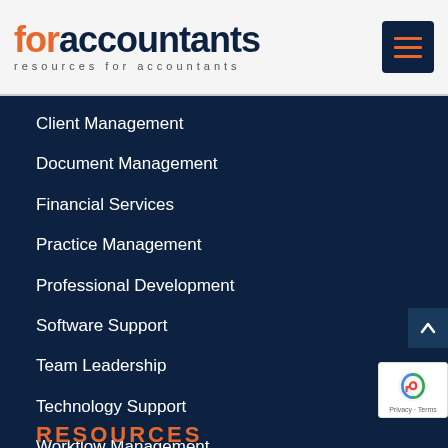[Figure (logo): forAccountants logo with orange 'for' and dark navy 'accountants' text, subtitle 'resources for accountants']
Client Management
Document Management
Financial Services
Practice Management
Professional Development
Software Support
Team Leadership
Technology Support
Workflow Management
RESOURCES